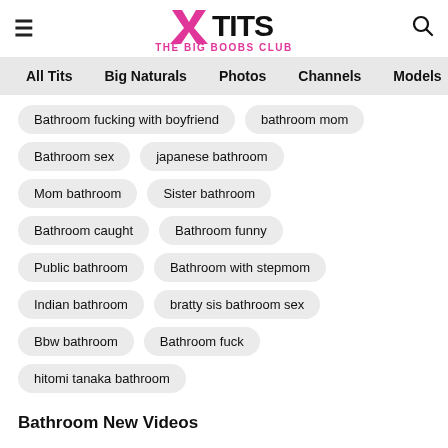[Figure (logo): xTITS - The Big Boobs Club logo with pink and black branding]
All Tits | Big Naturals | Photos | Channels | Models
Bathroom fucking with boyfriend
bathroom mom
Bathroom sex
japanese bathroom
Mom bathroom
Sister bathroom
Bathroom caught
Bathroom funny
Public bathroom
Bathroom with stepmom
Indian bathroom
bratty sis bathroom sex
Bbw bathroom
Bathroom fuck
hitomi tanaka bathroom
Bathroom New Videos